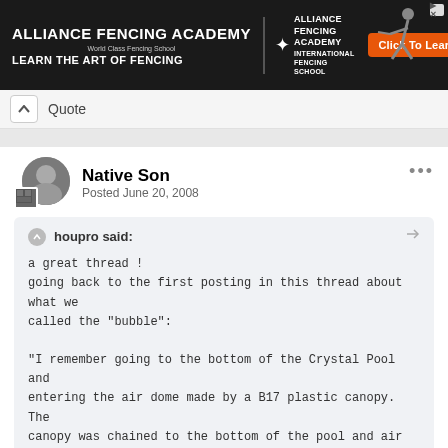[Figure (screenshot): Alliance Fencing Academy advertisement banner with black background, logo, tagline 'LEARN THE ART OF FENCING', orange 'Click To Learn More!' button, and fencer silhouette]
Quote
Native Son
Posted June 20, 2008
houpro said:
a great thread !
going back to the first posting in this thread about what we called the "bubble":
"I remember going to the bottom of the Crystal Pool and entering the air dome made by a B17 plastic canopy. The canopy was chained to the bottom of the pool and air was pumped in from the bottom. The canopy trapped the air and floated about 3 feet off the bottom."